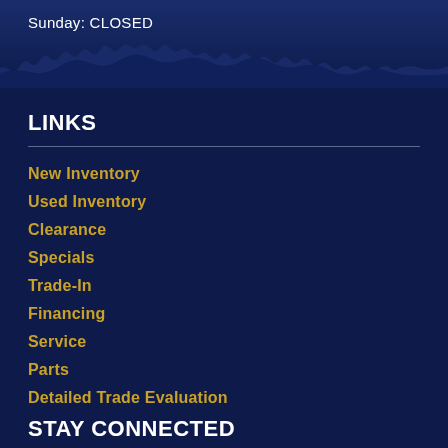Sunday: CLOSED
LINKS
New Inventory
Used Inventory
Clearance
Specials
Trade-In
Financing
Service
Parts
Detailed Trade Evaluation
STAY CONNECTED